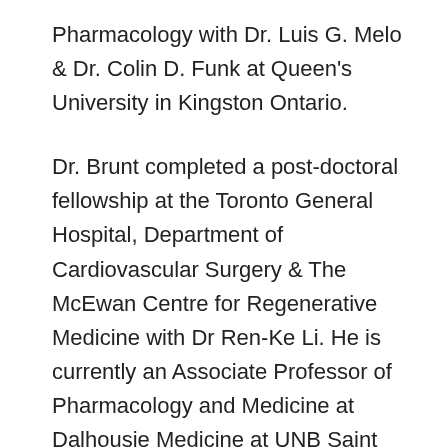Pharmacology with Dr. Luis G. Melo & Dr. Colin D. Funk at Queen's University in Kingston Ontario.
Dr. Brunt completed a post-doctoral fellowship at the Toronto General Hospital, Department of Cardiovascular Surgery & The McEwan Centre for Regenerative Medicine with Dr Ren-Ke Li. He is currently an Associate Professor of Pharmacology and Medicine at Dalhousie Medicine at UNB Saint John in New Brunswick, and Adjunct Professor in the Faculty of Business.
Dr. Brunt has authored or co-authored 17 papers